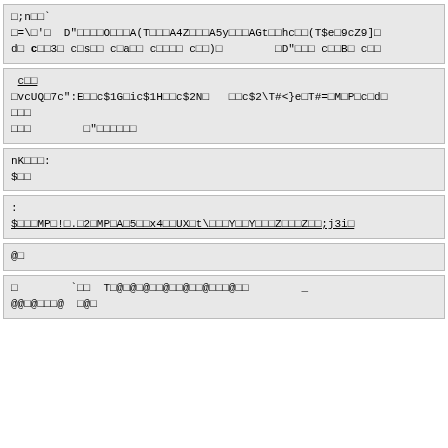□;n□□`
□=\□'□  D"□□□□O□□□A(T□□□A4Z□□□A5y□□□AGt□□hc□□(T$e□9cZ9]□
d□ c□□3□ c□s□□ c□a□□ c□□□□ c□□)□        □D"□□□ c□□B□ c□□
_c□□
□vcUQ□7c":E□□c$1G□ic$1H□□c$2N□   □□c$2\T#<}e□T#=□M□P□c□d□
□□□
□□□        □"□□□□□□
nK□□□:
$□□
:
$□□□MP□!□.□2□MP□A□5□□x4□□UX□t\□□□Y□□Y□□□Z□□□Z□□;j3i□
@□
□        `□□  T□@□@□@□□@□□@□□@□□□@□□        _
@@□@□□□@  □@□